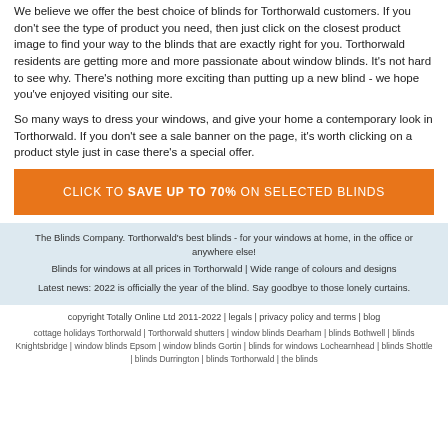We believe we offer the best choice of blinds for Torthorwald customers. If you don't see the type of product you need, then just click on the closest product image to find your way to the blinds that are exactly right for you. Torthorwald residents are getting more and more passionate about window blinds. It's not hard to see why. There's nothing more exciting than putting up a new blind - we hope you've enjoyed visiting our site.
So many ways to dress your windows, and give your home a contemporary look in Torthorwald. If you don't see a sale banner on the page, it's worth clicking on a product style just in case there's a special offer.
CLICK TO SAVE UP TO 70% ON SELECTED BLINDS
The Blinds Company. Torthorwald's best blinds - for your windows at home, in the office or anywhere else!
Blinds for windows at all prices in Torthorwald | Wide range of colours and designs

Latest news: 2022 is officially the year of the blind. Say goodbye to those lonely curtains.
copyright Totally Online Ltd 2011-2022 | legals | privacy policy and terms | blog
cottage holidays Torthorwald | Torthorwald shutters | window blinds Dearham | blinds Bothwell | blinds Knightsbridge | window blinds Epsom | window blinds Gortin | blinds for windows Lochearnhead | blinds Shottle | blinds Durrington | blinds Torthorwald | the blinds